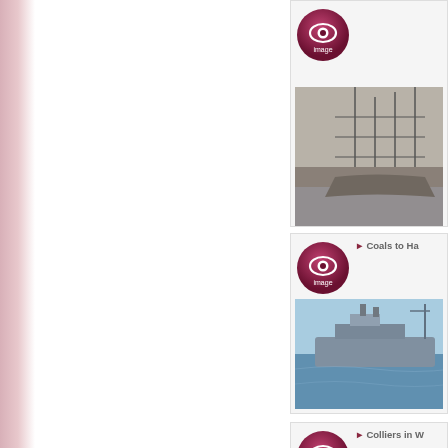[Figure (screenshot): Left panel showing a pinkish-lavender sidebar, mostly white content area, part of a web interface]
[Figure (screenshot): Top partial item block with eye/image button and black-and-white shipyard photograph (cropped)]
[Figure (screenshot): Item block: 'Coals to Ha...' with eye/image button and a color photo of a ship in harbor]
[Figure (screenshot): Item block: 'Colliers in W...' with eye/image button and a color photo of port/collier scene]
[Figure (screenshot): Item block: 'Colliers in W...' (partial, bottom) with eye/image button and partial color port photo]